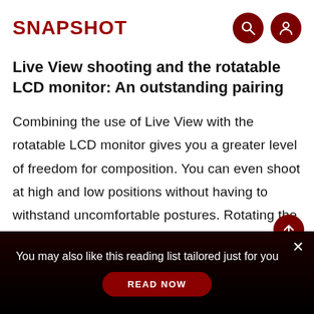SNAPSHOT
Live View shooting and the rotatable LCD monitor: An outstanding pairing
Combining the use of Live View with the rotatable LCD monitor gives you a greater level of freedom for composition. You can even shoot at high and low positions without having to withstand uncomfortable postures. Rotating the LCD monitor by 180 degrees
You may also like this reading list tailored just for you
READ NOW